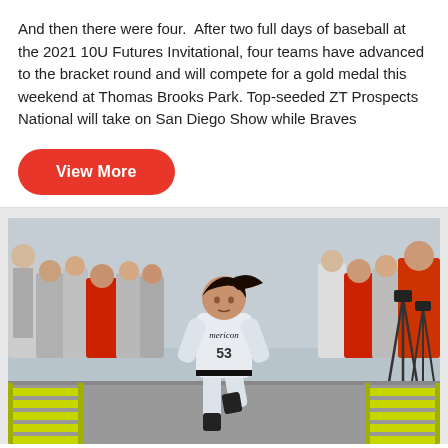And then there were four.  After two full days of baseball at the 2021 10U Futures Invitational, four teams have advanced to the bracket round and will compete for a gold medal this weekend at Thomas Brooks Park. Top-seeded ZT Prospects National will take on San Diego Show while Braves
View More
[Figure (photo): Youth baseball players running a speed/agility drill on a paved area with yellow agility ladders on either side. The main subject is a player in a gray uniform with number 53 running toward the camera. Other players and spectators are visible in the background. Camera equipment/tripods are visible on the right side.]